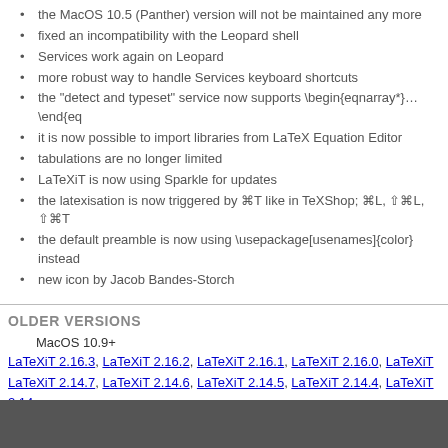the MacOS 10.5 (Panther) version will not be maintained any more
fixed an incompatibility with the Leopard shell
Services work again on Leopard
more robust way to handle Services keyboard shortcuts
the "detect and typeset" service now supports \begin{eqnarray*}...\end{eq
it is now possible to import libraries from LaTeX Equation Editor
tabulations are no longer limited
LaTeXiT is now using Sparkle for updates
the latexisation is now triggered by ⌘T like in TeXShop; ⌘L, ⇧⌘L, ⇧⌘T
the default preamble is now using \usepackage[usenames]{color} instead
new icon by Jacob Bandes-Storch
OLDER VERSIONS
MacOS 10.9+
LaTeXiT 2.16.3, LaTeXiT 2.16.2, LaTeXiT 2.16.1, LaTeXiT 2.16.0, LaTeXiT ... LaTeXiT 2.14.7, LaTeXiT 2.14.6, LaTeXiT 2.14.5, LaTeXiT 2.14.4, LaTeXiT 2.14...
MacOS 10.6+
LaTeXiT 2.13.5, LaTeXiT 2.13.4, LaTeXiT 2.13.3, LaTeXiT 2.13.2, LaTeXiT 2.13...
MacOS 10.4+
LaTeXiT 2.11.1, LaTeXiT 2.11.0, LaTeXiT 2.10.1, LaTeXiT 2.10.0, LaTeXiT 2.9... LaTeXiT 2.7.3, LaTeXiT 2.7.2, LaTeXiT 2.7.1, LaTeXiT 2.7.0, LaTeXiT 2.6.1... LaTeXiT 2.5.0, LaTeXiT 2.4.1, LaTeXiT 2.4.0, LaTeXiT 2.3.0, LaTeXiT 2.2.0... LaTeXiT 1.15.0, LaTeXiT 1.14.4, LaTeXiT 1.14.3, LaTeXiT 1.14.2, LaTeXiT 1.1... 1.11.0, LaTeXiT 1.10.1, LaTeXiT 1.10.0, LaTeXiT 1.9.3, LaTeXiT 1.9.2, LaTeX... 1.8.6, LaTeXiT 1.8.5, LaTeXiT 1.8.4, LaTeXiT 1.8.3, LaTeXiT 1.8.2, LaTeXiT... 1.6.0, LaTeXiT 1.5.6, LaTeXiT 1.5.5, LaTeXiT 1.5.4, LaTeXiT 1.5.3, LaTeXiT... 1.4.1, LaTeXiT 1.4.0, LaTeXiT 1.3.2, LaTeXiT 1.3.1, LaTeXiT 1.3.0, LaTeXiT 1...